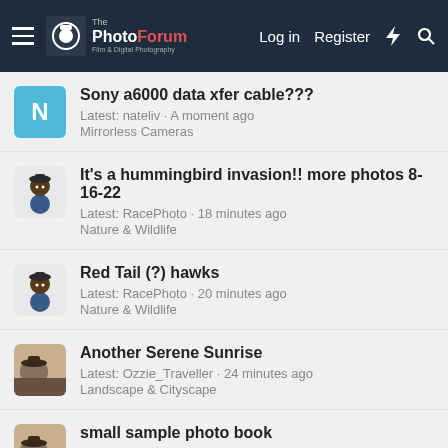The PhotoForum — Log in | Register
Sony a6000 data xfer cable???
Latest: nateliv · A moment ago
Mirrorless Cameras
It's a hummingbird invasion!! more photos 8-16-22
Latest: RacePhoto · 18 minutes ago
Nature & Wildlife
Red Tail (?) hawks
Latest: RacePhoto · 20 minutes ago
Nature & Wildlife
Another Serene Sunrise
Latest: Ozzie_Traveller · 24 minutes ago
Landscape & Cityscape
small sample photo book
Latest: Ozzie_Traveller · 26 minutes ago
General Shop Talk
Eastern Macdonnell Ranges of Central Australia (1)